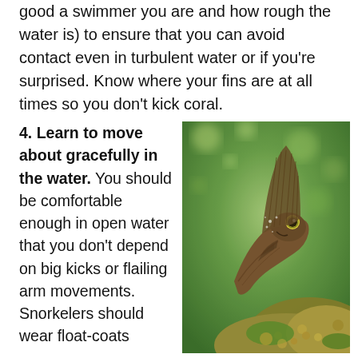good a swimmer you are and how rough the water is) to ensure that you can avoid contact even in turbulent water or if you're surprised. Know where your fins are at all times so you don't kick coral.
4. Learn to move about gracefully in the water. You should be comfortable enough in open water that you don't depend on big kicks or flailing arm movements. Snorkelers should wear float-coats
[Figure (photo): Close-up underwater photo of a small fish (blenny) perched on coral reef with a large dorsal fin raised, set against a blurred green aquatic background]